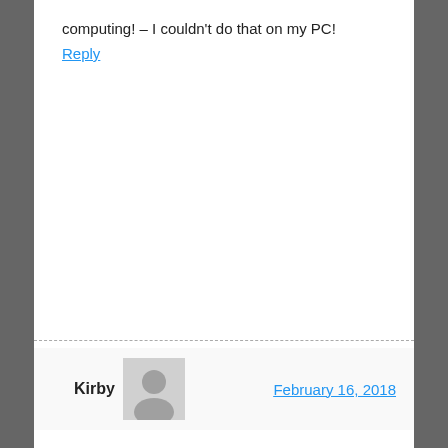computing! – I couldn't do that on my PC!
Reply
Kirby
February 16, 2018